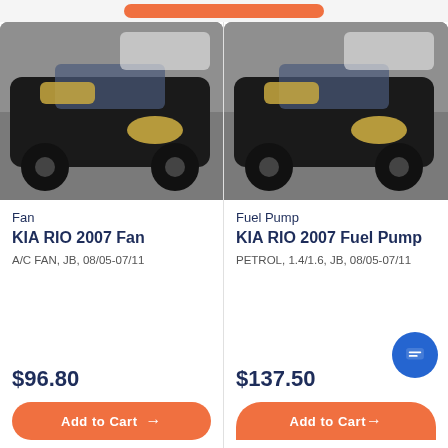[Figure (photo): Black Kia Rio 2007 car photographed from front-left angle in a yard]
Fan
KIA RIO 2007 Fan
A/C FAN, JB, 08/05-07/11
$96.80
Add to Cart →
[Figure (photo): Black Kia Rio 2007 car photographed from front-left angle in a yard]
Fuel Pump
KIA RIO 2007 Fuel Pump
PETROL, 1.4/1.6, JB, 08/05-07/11
$137.50
Add to Cart →